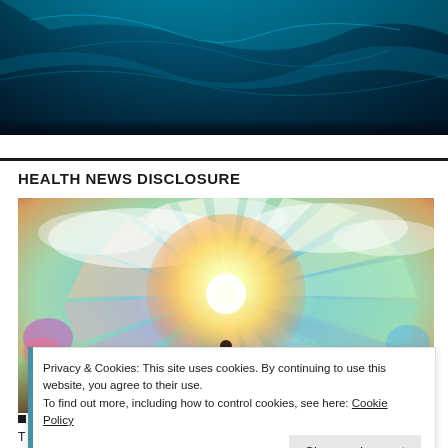[Figure (photo): Dark blue space/ocean image showing a partial view of Earth with swirling blue and teal textures]
HEALTH NEWS DISCLOSURE
[Figure (illustration): Fantasy/spiritual illustration of a person with outstretched arms standing in front of a radiant light source with colorful sky — blues, oranges, purples, greens radiating outward]
Privacy & Cookies: This site uses cookies. By continuing to use this website, you agree to their use.
To find out more, including how to control cookies, see here: Cookie Policy
T